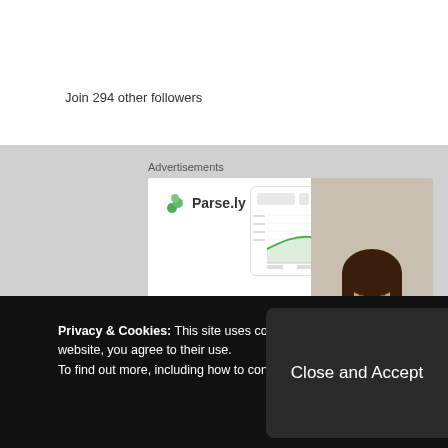Join 294 other followers
Advertisements
[Figure (screenshot): Parse.ly advertisement banner showing logo, analytics dashboard screenshot, woman in green top, and 'Content Analytics' text in bold]
Privacy & Cookies: This site uses cookies. By cont website, you agree to their use. To find out more, including how to control cookies
Close and Accept